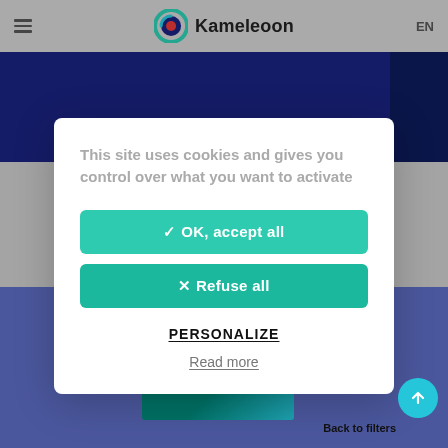Kameleoon | EN
[Figure (screenshot): Kameleoon website page partially visible behind cookie consent modal, showing dark blue banner and purple/blue content section with book cover]
This site uses cookies and gives you control over what you want to activate
✓ OK, accept all
✕ Refuse all
PERSONALIZE
Read more
Back to filters